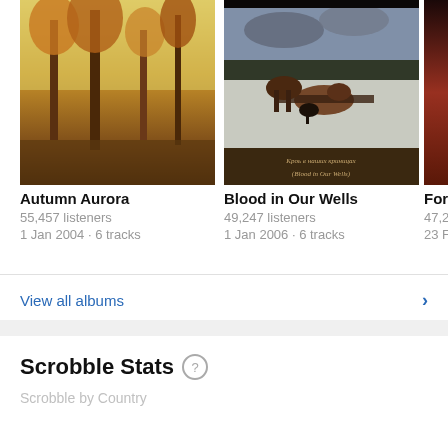[Figure (photo): Album cover for Autumn Aurora - painting of trees in autumn golden tones]
[Figure (photo): Album cover for Blood in Our Wells - dark painting of a horse-drawn sleigh in winter with Cyrillic text]
[Figure (photo): Album cover for Forgotten (partially visible) - dark reddish tones]
Autumn Aurora
55,457 listeners
1 Jan 2004 · 6 tracks
Blood in Our Wells
49,247 listeners
1 Jan 2006 · 6 tracks
Forg
47,29
23 Fe
View all albums
Scrobble Stats
Scrobble Stats